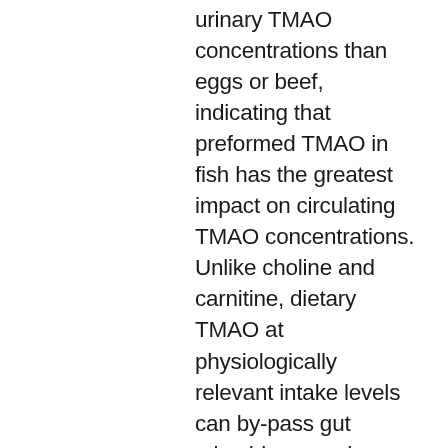urinary TMAO concentrations than eggs or beef, indicating that preformed TMAO in fish has the greatest impact on circulating TMAO concentrations. Unlike choline and carnitine, dietary TMAO at physiologically relevant intake levels can by-pass gut microbiome and hepatic processing with near-complete absorption, mostly eliminated unchanged in urine within 24-h and taken up by extrahepatic tissue (J Nutr Biochem 2017;45:77-82). We also highlight that preemptive dietary strategies to restrict TMAO generating nutrients as a means to improve human health warrant careful consideration and may not be justified at this time